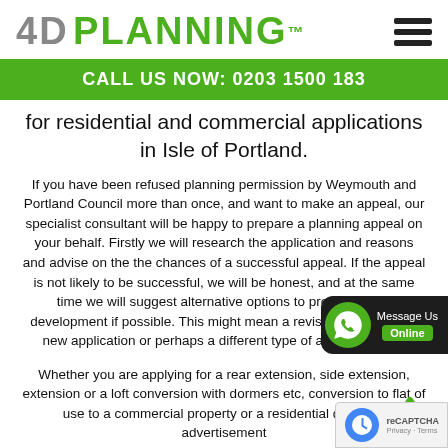4D PLANNING™
CALL US NOW: 0203 1500 183
for residential and commercial applications in Isle of Portland.
If you have been refused planning permission by Weymouth and Portland Council more than once, and want to make an appeal, our specialist consultant will be happy to prepare a planning appeal on your behalf. Firstly we will research the application and reasons and advise on the the chances of a successful appeal is not likely to be successful, we will b... and at the same time we will suggest alternative options to progress your development if possible. This might mean a revised design and a new application or perhaps a different type of application etc.
Whether you are applying for a rear extension, side extension, extension or a loft conversion with dormers etc, conversion to flat of use to a commercial property or a residential dwelling, advertisement